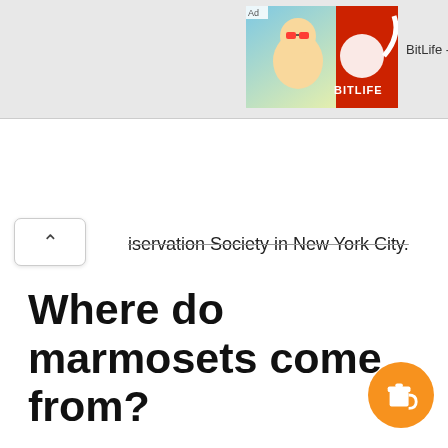[Figure (screenshot): Ad banner for BitLife - Life S game showing cartoon baby with sunglasses and a red background with a sperm logo]
iservation Society in New York City.
Where do marmosets come from?
Marmosets are small monkeys that live high up in the canopies of South American rainforests.
Is orangutan a monkey?